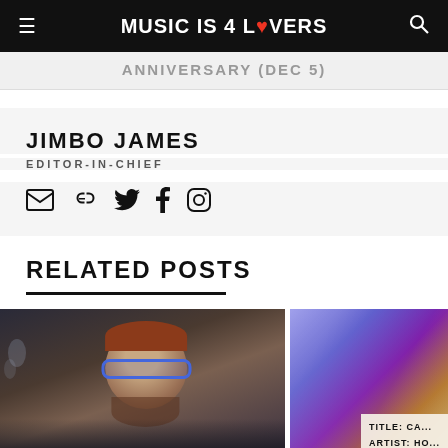MUSIC IS 4 LOVERS
ANNIVERSARY (DEC 5)
JIMBO JAMES
EDITOR-IN-CHIEF
[Figure (illustration): Social media icons: email, link, Twitter, Facebook, Instagram]
RELATED POSTS
[Figure (photo): Man with blue glasses and reddish-brown hair, bearded, wearing dark hoodie, against blurred studio background with lights]
[Figure (photo): Colorful abstract image with blue, purple, white and gold geometric shapes; overlay text box showing TITLE: CA... ARTIST: HO...]